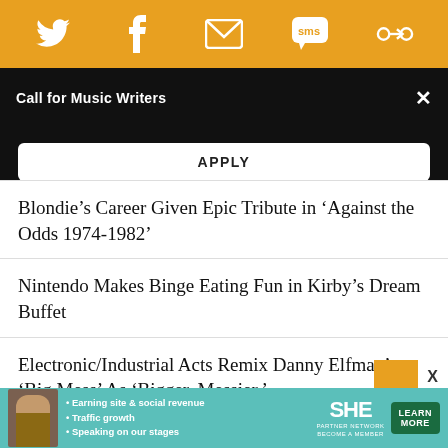[Figure (screenshot): Orange social sharing bar with Twitter, Facebook, email, SMS, and another icon]
Call for Music Writers
APPLY
Blondie’s Career Given Epic Tribute in ‘Against the Odds 1974-1982’
Nintendo Makes Binge Eating Fun in Kirby’s Dream Buffet
Electronic/Industrial Acts Remix Danny Elfman’s ‘Big Mess’ As ‘Bigger. Messier.’
Mike Nesmith’s Country Rock Deep Cuts Take Center Stage on ‘Different Drum’
[Figure (infographic): SHE Partner Network advertisement banner with learn more button]